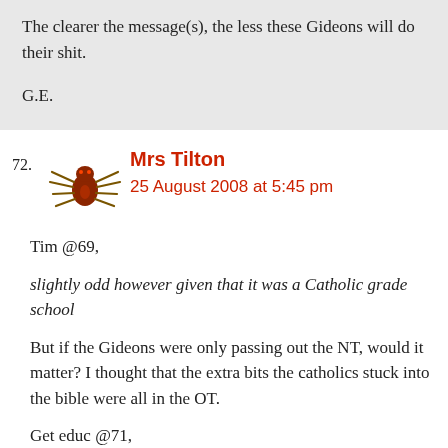The clearer the message(s), the less these Gideons will do their shit.

G.E.
72. Mrs Tilton
25 August 2008 at 5:45 pm
Tim @69,
slightly odd however given that it was a Catholic grade school
But if the Gideons were only passing out the NT, would it matter? I thought that the extra bits the catholics stuck into the bible were all in the OT.
Get educ @71,
the less these Gideons will do their shit